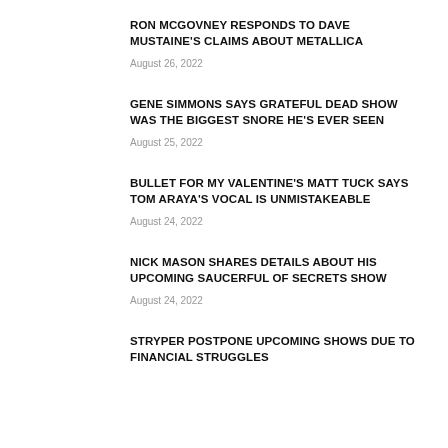RON MCGOVNEY RESPONDS TO DAVE MUSTAINE'S CLAIMS ABOUT METALLICA
August 26, 2022
GENE SIMMONS SAYS GRATEFUL DEAD SHOW WAS THE BIGGEST SNORE HE'S EVER SEEN
August 25, 2022
BULLET FOR MY VALENTINE'S MATT TUCK SAYS TOM ARAYA'S VOCAL IS UNMISTAKEABLE
August 24, 2022
NICK MASON SHARES DETAILS ABOUT HIS UPCOMING SAUCERFUL OF SECRETS SHOW
August 24, 2022
STRYPER POSTPONE UPCOMING SHOWS DUE TO FINANCIAL STRUGGLES